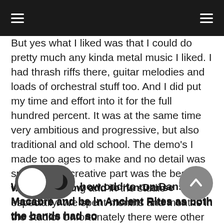But yes what I liked was that I could do pretty much any kinda metal music I liked. I had thrash riffs there, guitar melodies and loads of orchestral stuff too. And I did put my time and effort into it for the full hundred percent. It was at the same time very ambitious and progressive, but also traditional and old school. The demo's I made too ages to make and no detail was spared. The creative part was the best, with songwriting and in the studio especially. We spent months and months in the studio. Unfortunately there were other non-music related things that were less fun in the end.
Was it not how odd to run Danse Macabre and be in Ancient Rites as both the bands had some